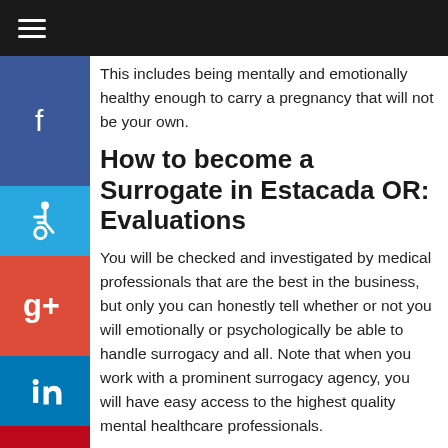≡ (navigation menu icon)
This includes being mentally and emotionally healthy enough to carry a pregnancy that will not be your own.
How to become a Surrogate in Estacada OR: Evaluations
You will be checked and investigated by medical professionals that are the best in the business, but only you can honestly tell whether or not you will emotionally or psychologically be able to handle surrogacy and all. Note that when you work with a prominent surrogacy agency, you will have easy access to the highest quality mental healthcare professionals.
Screenings To Become a Surrogate in Estacada OR The most fundamental process before entering into the pool to become a surrogate in Estacada OR is to have medical and psychological screenings. The fertility clinic